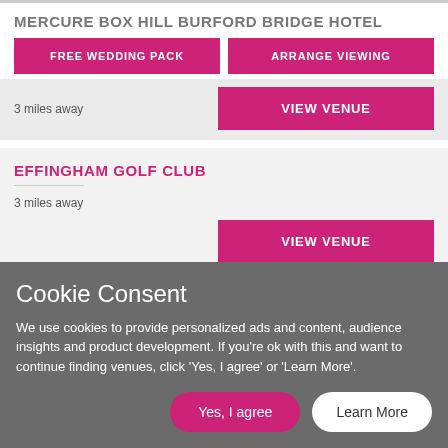MERCURE BOX HILL BURFORD BRIDGE HOTEL
FREE WEDDING PACK
ARRANGE VIEWING
3 miles away
VIEW VENUE
EFFINGHAM GOLF CLUB
3 miles away
VIEW VENUE
Cookie Consent
We use cookies to provide personalized ads and content, audience insights and product development. If you're ok with this and want to continue finding venues, click 'Yes, I agree' or 'Learn More'.
Yes, I agree
Learn More